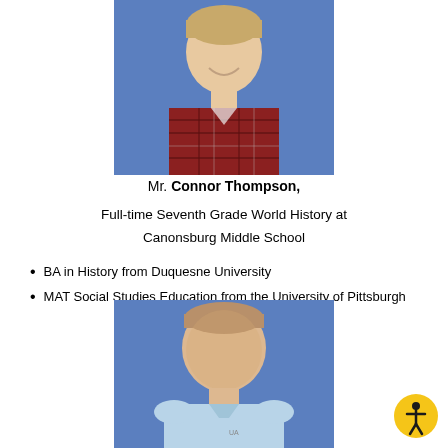[Figure (photo): Headshot photo of Mr. Connor Thompson wearing a red plaid shirt against a blue background, cropped at top]
Mr. Connor Thompson,
Full-time Seventh Grade World History at Canonsburg Middle School
BA in History from Duquesne University
MAT Social Studies Education from the University of Pittsburgh
[Figure (photo): Headshot photo of a man in a light blue polo shirt with Under Armour logo against a blue background]